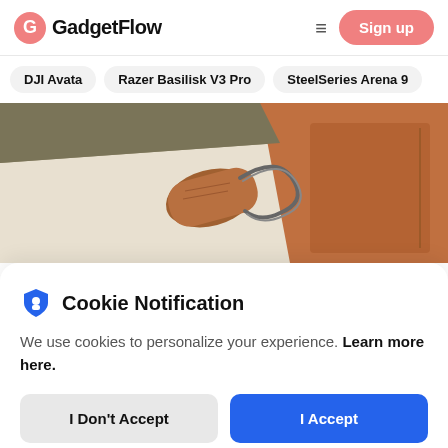GadgetFlow — Sign up
DJI Avata
Razer Basilisk V3 Pro
SteelSeries Arena 9
[Figure (photo): Close-up product photo of a brown leather item with a steel cable tie/keyfob on a light beige surface with a brown leather background]
Cookie Notification
We use cookies to personalize your experience. Learn more here.
I Don't Accept | I Accept